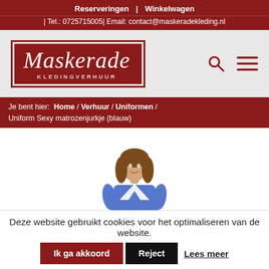Reserveringen | Winkelwagen
| Tel.: 0725715005| Email: contact@maskeradekleding.nl
[Figure (logo): Maskerade Kledingverhuur logo in dark red/white with script font and border]
Je bent hier: Home / Verhuur / Uniformen / Uniform Sexy matrozenjurkje (blauw)
[Figure (photo): Woman wearing a blue sailor-style dress costume (Uniform Sexy matrozenjurkje blauw)]
Deze website gebruikt cookies voor het optimaliseren van de website.
Ik ga akkoord  Reject  Lees meer